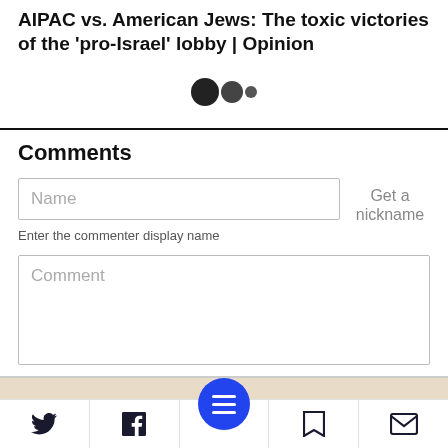AIPAC vs. American Jews: The toxic victories of the 'pro-Israel' lobby | Opinion
[Figure (other): Loading indicator with three dots (two large dark circles and one small dark circle)]
Comments
Name
Get a nickname
Enter the commenter display name
Comment
[Figure (other): Bottom navigation bar with Twitter, Facebook, hamburger menu (blue circle), bookmark, and email icons]